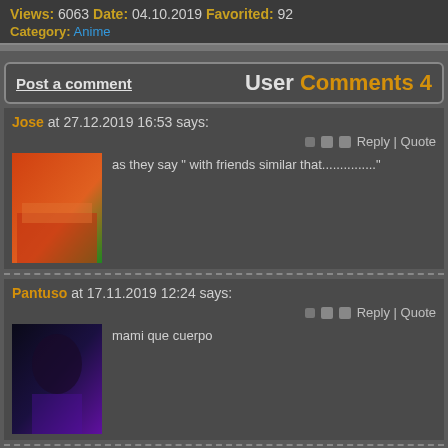Views: 6063 Date: 04.10.2019 Favorited: 92 Category: Anime
Post a comment  User Comments 4
Jose at 27.12.2019 16:53 says: as they say " with friends similar that..............."
Pantuso at 17.11.2019 12:24 says: mami que cuerpo
Hubert at 23.11.2019 22:24 says: so ideal tits